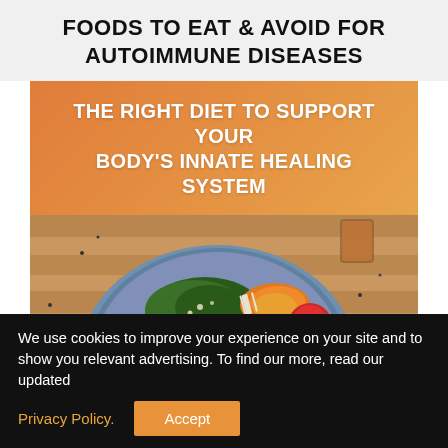FOODS TO EAT & AVOID FOR AUTOIMMUNE DISEASES
THE RIGHT DIET TO SUPPORT YOUR BODY'S INNATE HEALING SYSTEM
[Figure (photo): Overhead photo of a blue ceramic bowl filled with a colorful healthy salad including eggs, tomatoes, greens, zucchini noodles, and radishes on a wooden table, with avocado and flowers visible on the sides]
We use cookies to improve your experience on your site and to show you relevant advertising. To find our more, read our updated Privacy Policy.
Accept